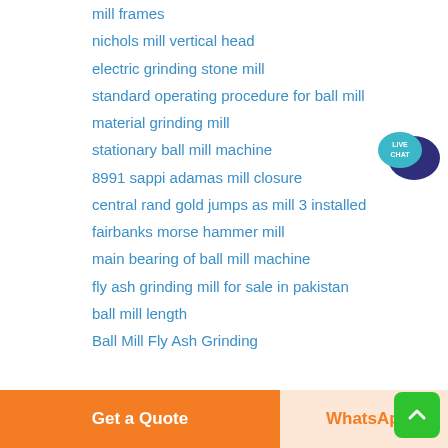mill frames
nichols mill vertical head
electric grinding stone mill
standard operating procedure for ball mill
material grinding mill
stationary ball mill machine
8991 sappi adamas mill closure
central rand gold jumps as mill 3 installed
fairbanks morse hammer mill
main bearing of ball mill machine
fly ash grinding mill for sale in pakistan
ball mill length
Ball Mill Fly Ash Grinding
[Figure (logo): Live Chat speech bubble widget in teal and dark blue]
Get a Quote
WhatsApp